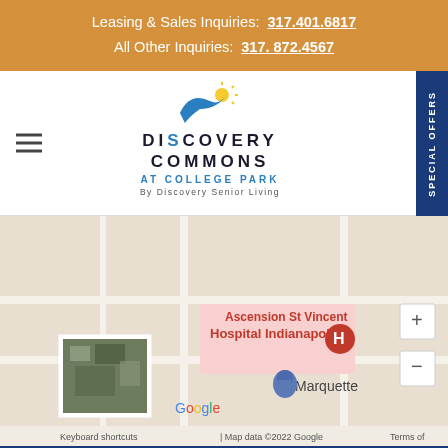Leasing & Sales Inquiries: 317.401.6817
All Other Inquiries: 317.872.4567
[Figure (logo): Discovery Commons at College Park by Discovery Senior Living logo with bird and sun icon]
[Figure (map): Google Maps screenshot showing Ascension St Vincent Hospital Indianapolis area with Marquette label and map controls]
[Figure (other): Discovery Senior Living bird icon on dark blue background]
© 2022 Discovery Senior Living Holdings, Sub-Group...
Reveal Pricing
Schedule a Tour